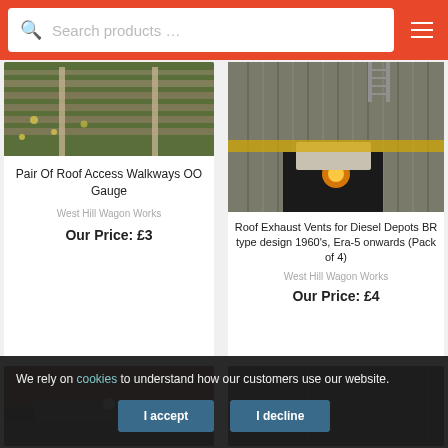Search products …
[Figure (photo): Railway track sleepers with yellow flowers, viewed from above at an angle]
Pair Of Roof Access Walkways OO Gauge
West Hill Wagon Works
Our Price: £3
[Figure (photo): Diesel depot building exterior with corrugated metal siding, ladder on roof, and orange light glowing in dark interior]
Roof Exhaust Vents for Diesel Depots BR type design 1960's, Era-5 onwards (Pack of 4)
West Hill Wagon Works
Our Price: £4
[Figure (photo): Partially visible product image - dark colored model railway structure]
[Figure (photo): Partially visible product image - dark interior scene]
We rely on cookies to understand how our customers use our website.
I accept
I decline